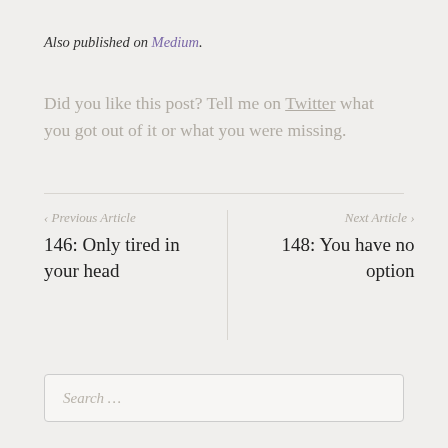Also published on Medium.
Did you like this post? Tell me on Twitter what you got out of it or what you were missing.
‹ Previous Article
146: Only tired in your head
Next Article ›
148: You have no option
Search …